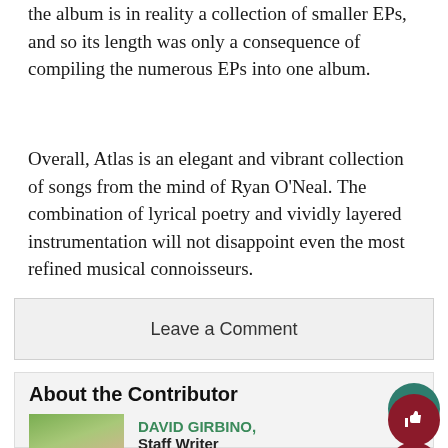the album is in reality a collection of smaller EPs, and so its length was only a consequence of compiling the numerous EPs into one album.
Overall, Atlas is an elegant and vibrant collection of songs from the mind of Ryan O'Neal. The combination of lyrical poetry and vividly layered instrumentation will not disappoint even the most refined musical connoisseurs.
Leave a Comment
About the Contributor
DAVID GIRBINO, Staff Writer